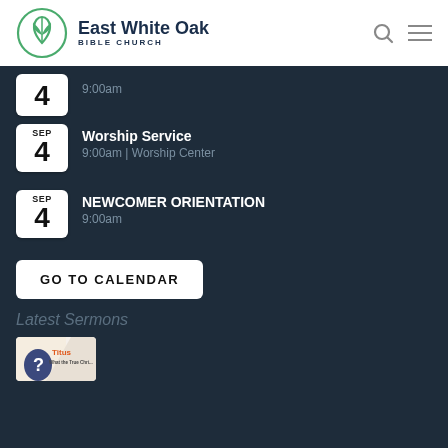East White Oak Bible Church
SEP 4 | 9:00am
Worship Service | SEP 4 | 9:00am | Worship Center
NEWCOMER ORIENTATION | SEP 4 | 9:00am
GO TO CALENDAR
Latest Sermons
[Figure (photo): Thumbnail image for Titus sermon series]